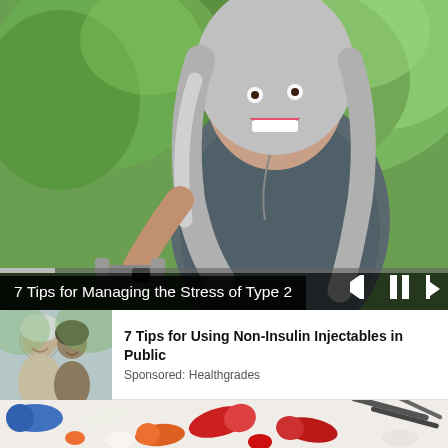[Figure (screenshot): Video player showing a middle-aged woman with grey hair smiling and exercising with dumbbells outdoors. Video controls (skip back, pause, skip forward) visible at bottom with a progress bar. Black overlay at bottom shows video title.]
7 Tips for Managing the Stress of Type 2
[Figure (photo): Small thumbnail image showing two elderly people smiling outdoors]
7 Tips for Using Non-Insulin Injectables in Public
Sponsored: Healthgrades
[Figure (photo): Close-up photo of various medications including red and white capsules and pills on a white surface with medical instruments]